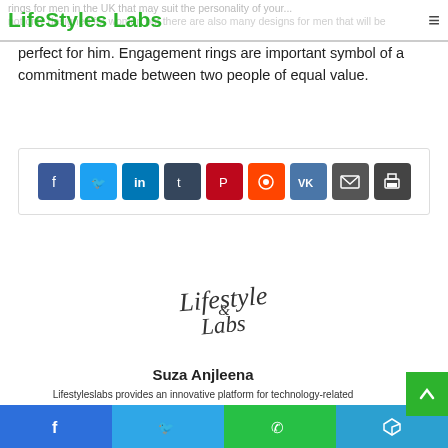LifeStyles Labs
rings for men in the UK that may suit the personality of your … not only designed for women but there are also many designs for men that will be perfect for him. Engagement rings are important symbol of a commitment made between two people of equal value.
[Figure (other): Social share buttons row: Facebook, Twitter, LinkedIn, Tumblr, Pinterest, Reddit, VK, Email, Print]
[Figure (logo): Lifestyle Labs cursive script logo]
Suza Anjleena
Lifestyleslabs provides an innovative platform for technology-related
Facebook | Twitter | WhatsApp | Telegram share buttons